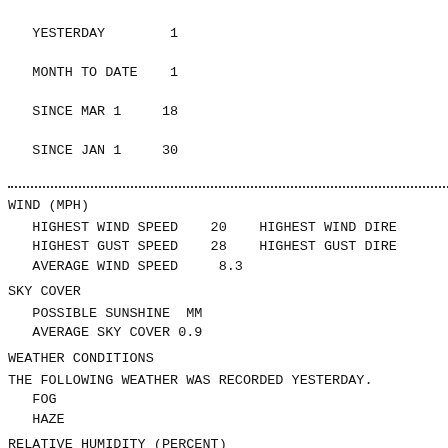|  | VALUE |  |
| --- | --- | --- |
| YESTERDAY | 1 | 2 |
| MONTH TO DATE | 1 | 8 |
| SINCE MAR 1 | 18 | 27 |
| SINCE JAN 1 | 30 | 31 |
WIND (MPH)
HIGHEST WIND SPEED    20    HIGHEST WIND DIRE
   HIGHEST GUST SPEED    28    HIGHEST GUST DIRE
   AVERAGE WIND SPEED     8.3
SKY COVER
POSSIBLE SUNSHINE  MM
   AVERAGE SKY COVER 0.9
WEATHER CONDITIONS
THE FOLLOWING WEATHER WAS RECORDED YESTERDAY.
   FOG
   HAZE
RELATIVE HUMIDITY (PERCENT)
|  | VALUE | TIME |
| --- | --- | --- |
| HIGHEST | 93 | 400 AM |
| LOWEST | 54 | 400 PM |
| AVERAGE | 74 |  |